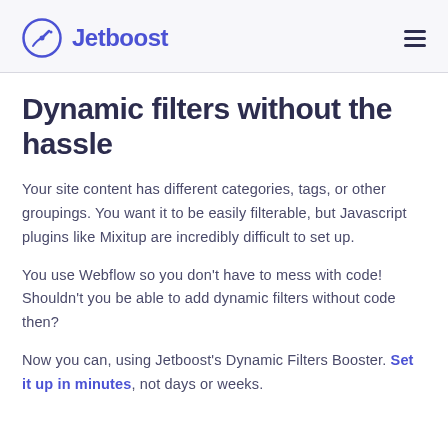Jetboost
Dynamic filters without the hassle
Your site content has different categories, tags, or other groupings. You want it to be easily filterable, but Javascript plugins like Mixitup are incredibly difficult to set up.
You use Webflow so you don't have to mess with code! Shouldn't you be able to add dynamic filters without code then?
Now you can, using Jetboost's Dynamic Filters Booster. Set it up in minutes, not days or weeks.